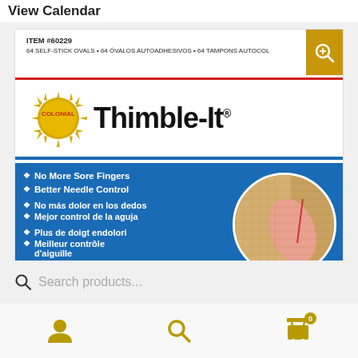View Calendar
[Figure (photo): Colonial Thimble-It product packaging showing ITEM #60229, 64 SELF-STICK OVALS, with Colonial logo badge and Thimble-It brand name, and blue section listing features: No More Sore Fingers, Better Needle Control, No más dolor en los dedos, Mejor control de la aguja, Plus de doigt endolori, Meilleur contrôle d'aiguille. A circular inset shows fingers sewing on needlework.]
Search products...